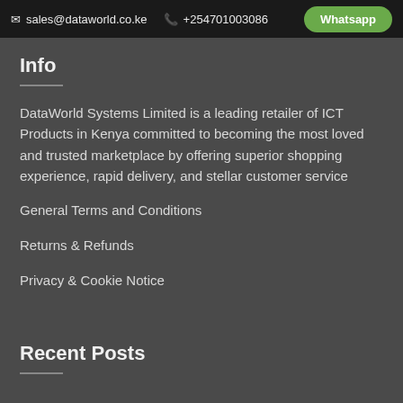✉ sales@dataworld.co.ke  📞 +254701003086  Whatsapp
Info
DataWorld Systems Limited is a leading retailer of ICT Products in Kenya committed to becoming the most loved and trusted marketplace by offering superior shopping experience, rapid delivery, and stellar customer service
General Terms and Conditions
Returns & Refunds
Privacy & Cookie Notice
Recent Posts